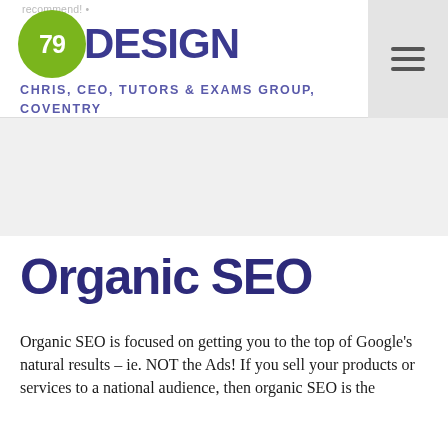recommend! 79DESIGN
CHRIS, CEO, TUTORS & EXAMS GROUP, COVENTRY
Organic SEO
Organic SEO is focused on getting you to the top of Google's natural results – ie. NOT the Ads! If you sell your products or services to a national audience, then organic SEO is the